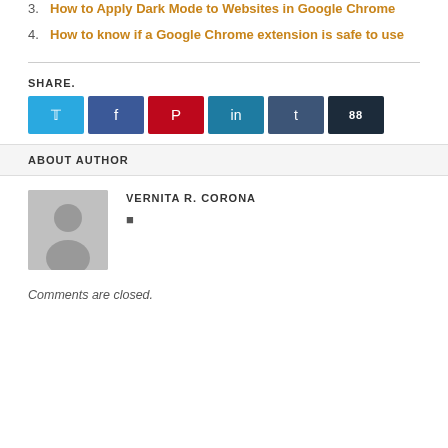3. How to Apply Dark Mode to Websites in Google Chrome
4. How to know if a Google Chrome extension is safe to use
SHARE.
[Figure (infographic): Six social share buttons: Twitter (light blue), Facebook (dark blue), Pinterest (red), LinkedIn (teal), Tumblr (dark slate), and a share counter showing 88 (very dark navy)]
ABOUT AUTHOR
[Figure (photo): Gray placeholder avatar silhouette of a person]
VERNITA R. CORONA
Comments are closed.